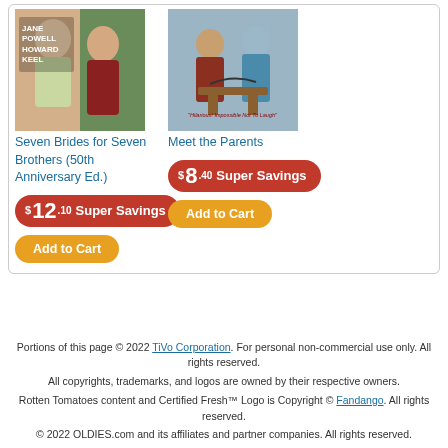[Figure (photo): Movie poster for Seven Brides for Seven Brothers showing Jane Powell and Howard Keel]
Seven Brides for Seven Brothers (50th Anniversary Ed.)
$12.10 Super Savings
Add to Cart
[Figure (photo): Movie cover for Meet the Parents showing two men]
Meet the Parents
$8.40 Super Savings
Add to Cart
Portions of this page © 2022 TiVo Corporation. For personal non-commercial use only. All rights reserved. All copyrights, trademarks, and logos are owned by their respective owners. Rotten Tomatoes content and Certified Fresh™ Logo is Copyright © Fandango. All rights reserved. © 2022 OLDIES.com and its affiliates and partner companies. All rights reserved.